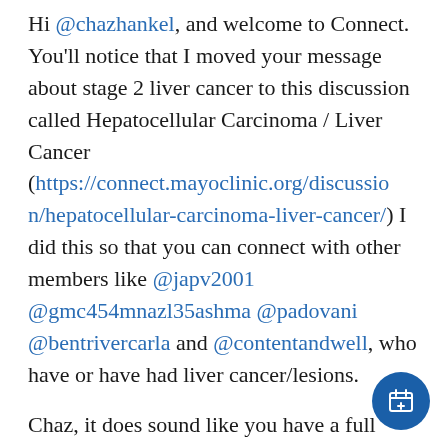Hi @chazhankel, and welcome to Connect. You'll notice that I moved your message about stage 2 liver cancer to this discussion called Hepatocellular Carcinoma / Liver Cancer (https://connect.mayoclinic.org/discussion/hepatocellular-carcinoma-liver-cancer/) I did this so that you can connect with other members like @japv2001 @gmc454mnazl35ashma @padovani @bentrivercarla and @contentandwell, who have or have had liver cancer/lesions.

Chaz, it does sound like you have a full plate. My dad's heart murmur was also discovered as he prepared for colon cancer surgery. What precautions do they
[Figure (other): Blue circular floating action button with a calendar/plus icon in the bottom-right corner]